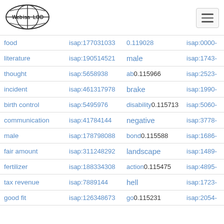[Figure (logo): Web isa LOD globe logo with ellipses]
| concept | isap id | related concept | isap id 2 |
| --- | --- | --- | --- |
| food | isap:177031033 | 0.119028 | isap:0000- |
| literature | isap:190514521 | male | isap:1743- |
| thought | isap:5658938 | ab 0.115966 | isap:2523- |
| incident | isap:461317978 | brake | isap:1990- |
| birth control | isap:5495976 | disability 0.115713 | isap:5060- |
| communication | isap:41784144 | negative | isap:3778- |
| male | isap:178798088 | bond 0.115588 | isap:1686- |
| fair amount | isap:311248292 | landscape | isap:1489- |
| fertilizer | isap:188334308 | action 0.115475 | isap:4895- |
| tax revenue | isap:7889144 | hell | isap:1723- |
| good fit | isap:126348673 | go 0.115231 | isap:2054- |